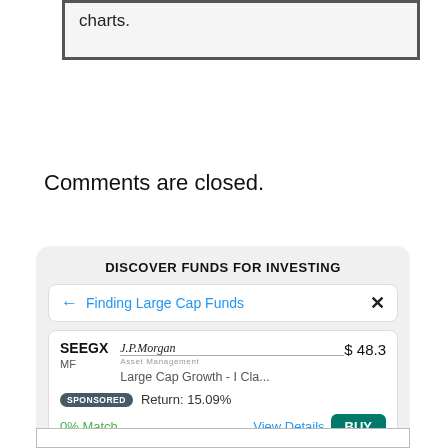charts.
Comments are closed.
DISCOVER FUNDS FOR INVESTING
← Finding Large Cap Funds  ✕
SEEGX  J.P.Morgan Asset Management  $ 48.3
MF  Large Cap Growth - I Cla...
SPONSORED  Return: 15.09%
0% Match  View Details  BUY
"The Google for Investing" as mentioned by CNBC
powered by magnifi